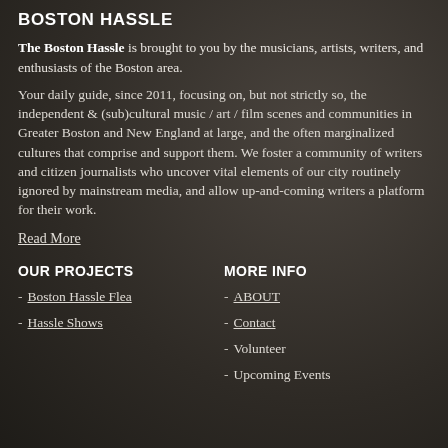BOSTON HASSLE
The Boston Hassle is brought to you by the musicians, artists, writers, and enthusiasts of the Boston area.
Your daily guide, since 2011, focusing on, but not strictly so, the independent & (sub)cultural music / art / film scenes and communities in Greater Boston and New England at large, and the often marginalized cultures that comprise and support them. We foster a community of writers and citizen journalists who uncover vital elements of our city routinely ignored by mainstream media, and allow up-and-coming writers a platform for their work.
Read More
OUR PROJECTS
MORE INFO
- Boston Hassle Flea
- Hassle Shows
- ABOUT
- Contact
- Volunteer
- Upcoming Events